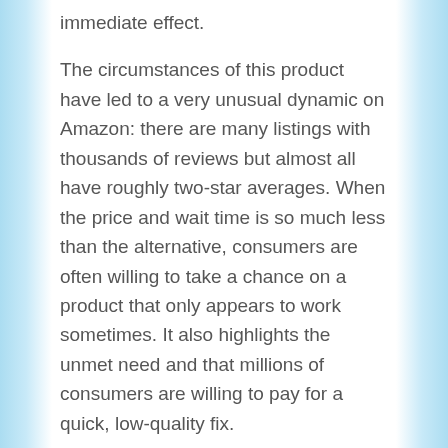immediate effect.
The circumstances of this product have led to a very unusual dynamic on Amazon: there are many listings with thousands of reviews but almost all have roughly two-star averages. When the price and wait time is so much less than the alternative, consumers are often willing to take a chance on a product that only appears to work sometimes. It also highlights the unmet need and that millions of consumers are willing to pay for a quick, low-quality fix.
There are also social drivers for people to pay more attention to their teeth. Photo-sharing is one element, but it's fairly easy to retouch